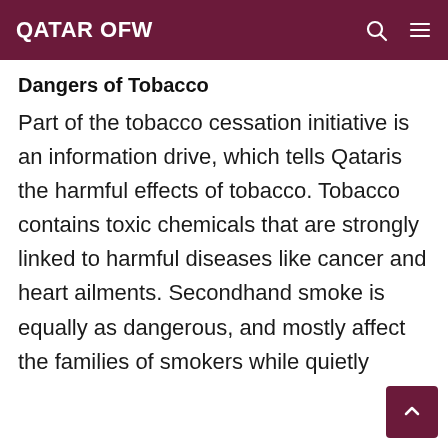QATAR OFW
Dangers of Tobacco
Part of the tobacco cessation initiative is an information drive, which tells Qataris the harmful effects of tobacco. Tobacco contains toxic chemicals that are strongly linked to harmful diseases like cancer and heart ailments. Secondhand smoke is equally as dangerous, and mostly affect the families of smokers while quietly